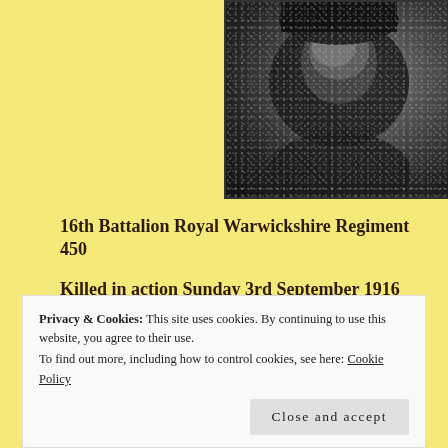[Figure (photo): A grainy black and white halftone portrait photograph, cropped at the top, showing a person's head and upper body, partially visible at the top of the page.]
16th Battalion Royal Warwickshire Regiment 450
Killed in action Sunday 3rd September 1916
Privacy & Cookies: This site uses cookies. By continuing to use this website, you agree to their use.
To find out more, including how to control cookies, see here: Cookie Policy
Close and accept